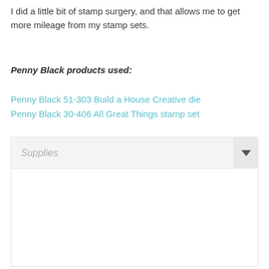I did a little bit of stamp surgery, and that allows me to get more mileage from my stamp sets.
Penny Black products used:
Penny Black 51-303 Build a House Creative die
Penny Black 30-406 All Great Things stamp set
[Figure (screenshot): A collapsible 'Supplies' widget panel with a light grey header bar containing the italic placeholder text 'Supplies' and a chevron/dropdown arrow button on the right side. The body of the panel is empty white space.]